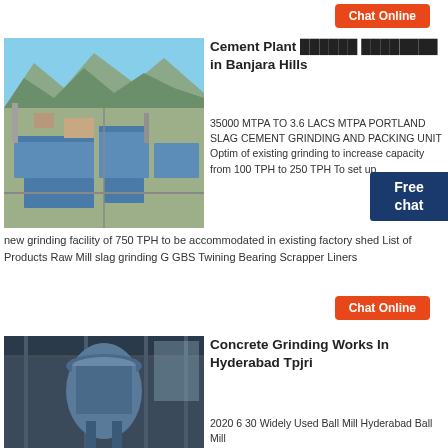Chat Online
[Figure (photo): Aerial view of a large cement/industrial plant with blue-roofed factory buildings, surrounded by mountains and greenery]
Cement Plant ███████ ████████ in Banjara Hills
35000 MTPA TO 3.6 LACS MTPA PORTLAND SLAG CEMENT GRINDING AND PACKING UNIT Optim of existing grinding to increase capacity from 100 TPH to 250 TPH To set up new grinding facility of 750 TPH to be accommodated in existing factory shed List of Products Raw Mill slag grinding G GBS Twining Bearing Scrapper Liners
Chat Online
[Figure (photo): Interior of an industrial concrete grinding facility in Hyderabad, showing large cylindrical grinding equipment]
Concrete Grinding Works In Hyderabad Tpjri
2020 6 30 Widely Used Ball Mill Hyderabad Ball Mill